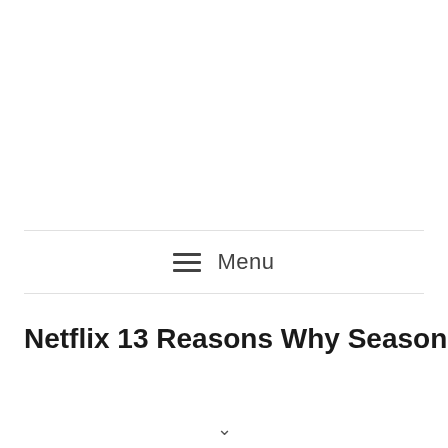Menu
Netflix 13 Reasons Why Season 4 Is